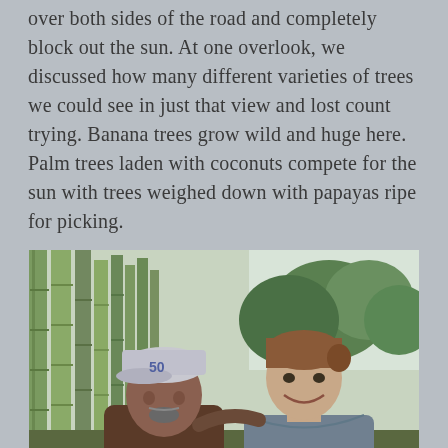over both sides of the road and completely block out the sun. At one overlook, we discussed how many different varieties of trees we could see in just that view and lost count trying. Banana trees grow wild and huge here. Palm trees laden with coconuts compete for the sun with trees weighed down with papayas ripe for picking.
[Figure (photo): Two people posing outdoors in front of tall bamboo trees and tropical vegetation. On the left is an older man wearing a cap with '50' on it and a brown vest over a green shirt. On the right is a woman with brown hair pulled back, smiling, wearing a grey long-sleeve shirt. The background shows lush green bamboo stalks and trees.]